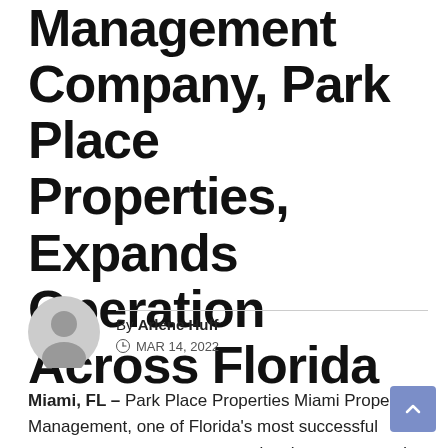Management Company, Park Place Properties, Expands Operation Across Florida
By Arlene Huff
MAR 14, 2022
Miami, FL – Park Place Properties Miami Property Management, one of Florida's most successful property management companies, has announced its operation expansion across